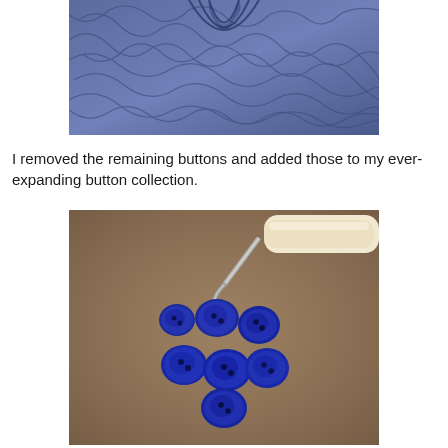[Figure (photo): Close-up photograph of dark blue/purple patterned fabric with a V-neckline or collar area, showing swirling leaf/wave patterns on the textile.]
I removed the remaining buttons and added those to my ever-expanding button collection.
[Figure (photo): Photograph of several small dark blue rounded buttons scattered on a brown/tan surface, with a seam ripper tool (white handle, metal hook) positioned near them.]